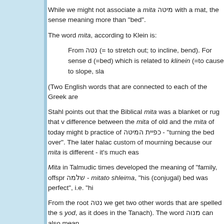While we might not associate a mita מיטה with a mat, the sense meaning more than "bed".
The word mita, according to Klein is:
From נטה (= to stretch out; to incline, bend). For sense d (=bed) which is related to klinein (=to cause to slope, sla
(Two English words that are connected to each of the Greek are
Stahl points out that the Biblical mita was a blanket or rug that v difference between the mita of old and the mita of today might b practice of כפיית המיטה - "turning the bed over". The later halac custom of mourning because our mita is different - it's much eas
Mita in Talmudic times developed the meaning of "family, offspr שלמה - mitato shleima, "his (conjugal) bed was perfect", i.e. "hi
From the root נטה we get two other words that are spelled the s yod, as it does in the Tanach). The word מנוה can also mean